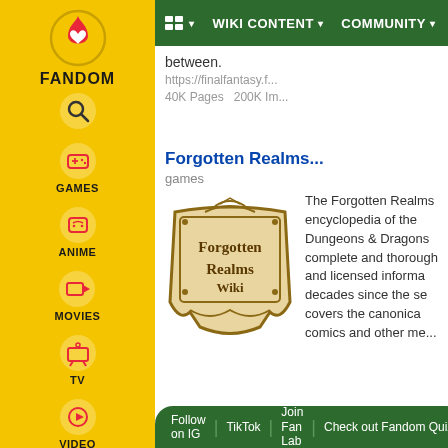[Figure (screenshot): Fandom sidebar with yellow background showing Fandom logo, search icon, and navigation icons for Games, Anime, Movies, TV, Video]
AA ▾   WIKI CONTENT ▾   COMMUNITY ▾
between.
https://finalfantasy.f...
40K Pages   200K Im...
Forgotten Realms...
games
[Figure (logo): Forgotten Realms Wiki logo — ornate wooden sign style with text Forgotten Realms Wiki]
The Forgotten Realms encyclopedia of the Dungeons & Dragons complete and thorough and licensed informa decades since the se covers the canonica comics and other me...
Follow on IG   TikTok   Join Fan Lab   Check out Fandom Quizzes and cha...   ✕
https://forgottenrea...